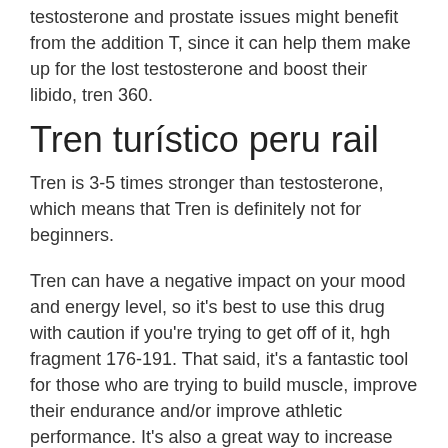testosterone and prostate issues might benefit from the addition T, since it can help them make up for the lost testosterone and boost their libido, tren 360.
Tren turístico peru rail
Tren is 3-5 times stronger than testosterone, which means that Tren is definitely not for beginners.
Tren can have a negative impact on your mood and energy level, so it's best to use this drug with caution if you're trying to get off of it, hgh fragment 176-191. That said, it's a fantastic tool for those who are trying to build muscle, improve their endurance and/or improve athletic performance. It's also a great way to increase your testosterone levels if you're a man who exercises and has the condition that testosterone causes in women, somatropin 10iu. It's like a steroid hormone, just a little bit smaller and less